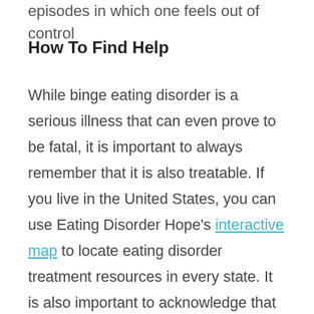episodes in which one feels out of control
How To Find Help
While binge eating disorder is a serious illness that can even prove to be fatal, it is important to always remember that it is also treatable. If you live in the United States, you can use Eating Disorder Hope's interactive map to locate eating disorder treatment resources in every state. It is also important to acknowledge that no two people's recovery journeys from an eating disorder will look the same.